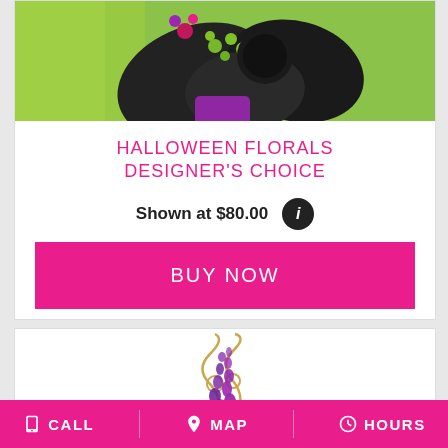[Figure (photo): Halloween floral arrangement with black flowers, green berries, green glittery material, and purple vase on lime green background, cropped at top]
HALLOWEEN FLORALS DESIGNER'S CHOICE
Shown at $80.00
BUY NOW
[Figure (photo): Purple delphinium flowers on curling gold wire stems, white background]
CALL   MAP   HOURS